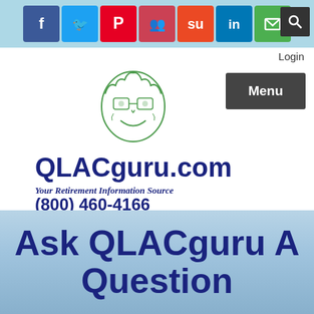Social media icons bar: Facebook, Twitter, Pinterest, Groups, StumbleUpon, LinkedIn, Email; Search button; Login
[Figure (logo): QLACguru.com cartoon mascot logo — elderly person with glasses, green outline illustration]
QLACguru.com
Your Retirement Information Source
(800) 460-4166
Ask QLACguru A Question